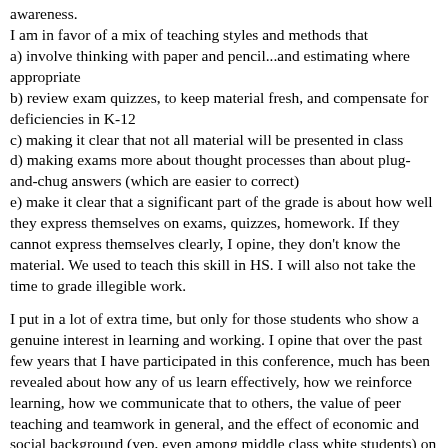awareness.
I am in favor of a mix of teaching styles and methods that
a) involve thinking with paper and pencil...and estimating where appropriate
b) review exam quizzes, to keep material fresh, and compensate for deficiencies in K-12
c) making it clear that not all material will be presented in class
d) making exams more about thought processes than about plug-and-chug answers (which are easier to correct)
e) make it clear that a significant part of the grade is about how well they express themselves on exams, quizzes, homework. If they cannot express themselves clearly, I opine, they don't know the material. We used to teach this skill in HS. I will also not take the time to grade illegible work.
I put in a lot of extra time, but only for those students who show a genuine interest in learning and working. I opine that over the past few years that I have participated in this conference, much has been revealed about how any of us learn effectively, how we reinforce learning, how we communicate that to others, the value of peer teaching and teamwork in general, and the effect of economic and social background (yep, even among middle class white students) on how well they do in school. I don't see that information applied broadly in academia today, from start to finish. I see that there are many success stories in this conference, but my impression is that those successes represent a small fraction of all